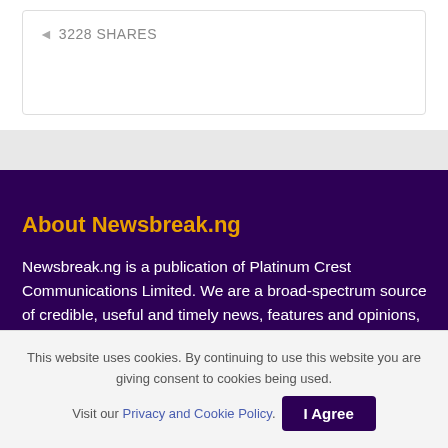3228 SHARES
About Newsbreak.ng
Newsbreak.ng is a publication of Platinum Crest Communications Limited. We are a broad-spectrum source of credible, useful and timely news, features and opinions, especially as they affect Nigerians at home and in the diaspora.
This website uses cookies. By continuing to use this website you are giving consent to cookies being used. Visit our Privacy and Cookie Policy.    I Agree